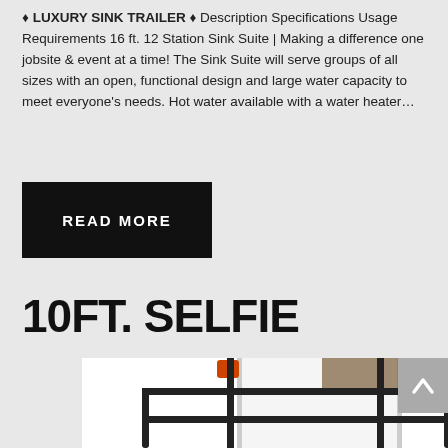♦ LUXURY SINK TRAILER ♦ Description Specifications Usage Requirements 16 ft. 12 Station Sink Suite | Making a difference one jobsite & event at a time! The Sink Suite will serve groups of all sizes with an open, functional design and large water capacity to meet everyone's needs. Hot water available with a water heater…
READ MORE
10FT. SELFIE
[Figure (photo): Photo of a selfie trailer interior showing white panels, black metal railings/stairs structure, and partial view of equipment. A scroll-up button is visible in the top-right corner.]